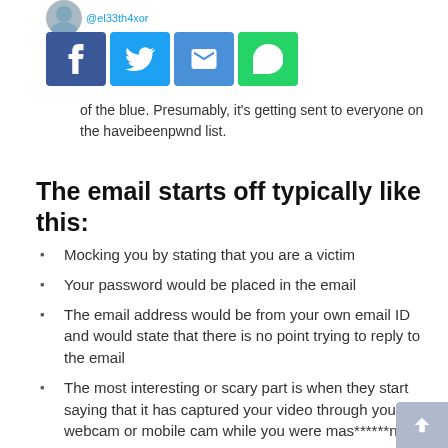[Figure (screenshot): Social media share buttons (Facebook, Twitter, Email, WhatsApp) with a Twitter avatar and handle @el33th4xor visible at top]
of the blue. Presumably, it's getting sent to everyone on the haveibeenpwnd list.
The email starts off typically like this:
Mocking you by stating that you are a victim
Your password would be placed in the email
The email address would be from your own email ID and would state that there is no point trying to reply to the email
The most interesting or scary part is when they start saying that it has captured your video through you webcam or mobile cam while you were mas******ng.
Tracked your activities on pornography website and will be shared with your friends. They would